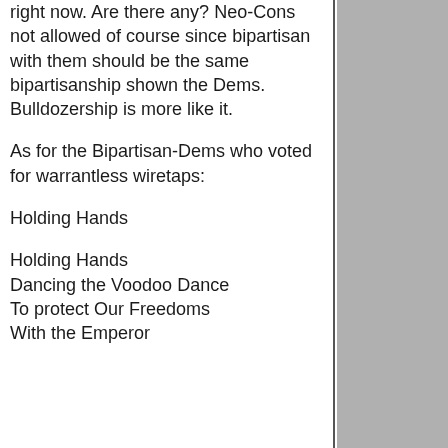right now. Are there any? Neo-Cons not allowed of course since bipartisan with them should be the same bipartisanship shown the Dems. Bulldozership is more like it.
As for the Bipartisan-Dems who voted for warrantless wiretaps:
Holding Hands
Holding Hands
Dancing the Voodoo Dance
To protect Our Freedoms
With the Emperor